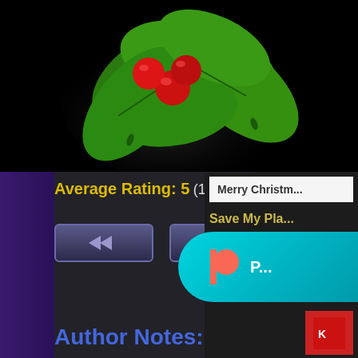[Figure (illustration): Holly plant with red berries and green leaves on black background, partially cropped at top]
Average Rating: 5 (11 votes)
[Figure (screenshot): Two navigation back-arrow buttons with purple/dark styling]
Merry Christm...
Save My Pla...
[Figure (logo): Payment icons: Visa, Mastercard, and other payment logos]
[Figure (logo): Patreon button with teal/cyan gradient background and orange Patreon logo]
Author Notes: